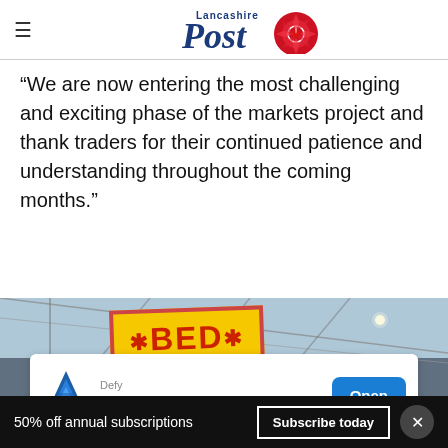Lancashire Post
“We are now entering the most challenging and exciting phase of the markets project and thank traders for their continued patience and understanding throughout the coming months.”
[Figure (photo): Interior of a market hall with a yellow BED sign with red lettering and asterisks, steel roof structure visible above]
[Figure (other): Advertisement overlay: Defy - Intelligent Duct Cleaning with Open button]
50% off annual subscriptions  Subscribe today